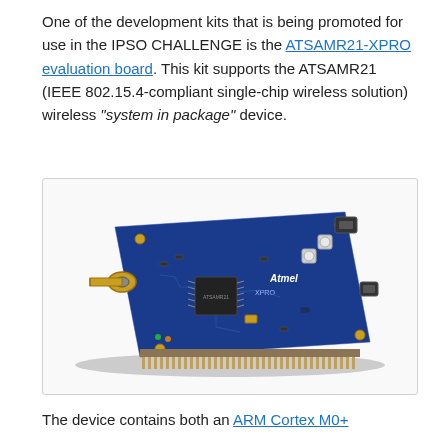One of the development kits that is being promoted for use in the IPSO CHALLENGE is the ATSAMR21-XPRO evaluation board. This kit supports the ATSAMR21 (IEEE 802.15.4-compliant single-chip wireless solution) wireless "system in package" device.
[Figure (photo): Photo of the ATSAMR21-XPRO evaluation board — a blue PCB with an SMA antenna connector on the left, Atmel branding in the center, USB connectors and push buttons on the top-right, and row of header pins along the bottom edge.]
The device contains both an ARM Cortex M0+